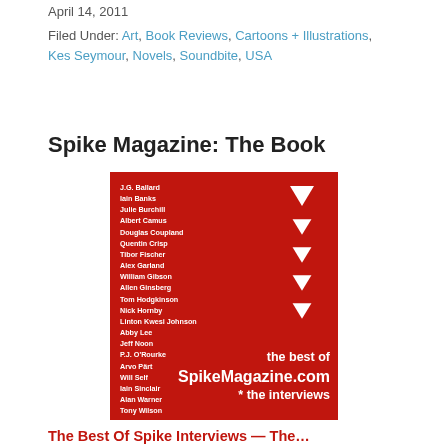April 14, 2011
Filed Under: Art, Book Reviews, Cartoons + Illustrations, Kes Seymour, Novels, Soundbite, USA
Spike Magazine: The Book
[Figure (photo): Book cover for 'the best of SpikeMagazine.com * the interviews' on a red background, with a list of author names on the left and white downward-pointing triangular arrows on the right.]
The Best Of Spike Interviews — The...